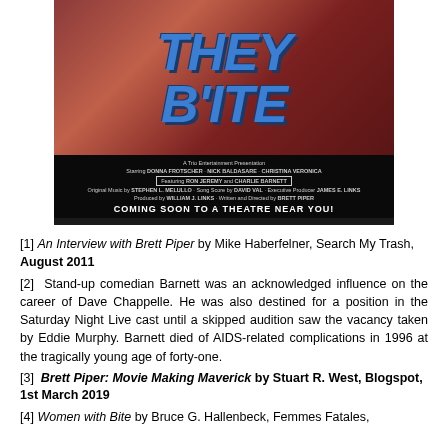[Figure (photo): Movie poster for 'They Bite' — a Trio Entertainment Presentation. Shows large blue stylized text 'THEY BITE' over a dark reddish background. Credits list starring Donna Frotscher, Nick Baldasare, Christina Veronica; featuring Ron Jeremy and Charlie Barnett; original music by Stephen L. Melullo; song score by David Val; executive producer James E. Links; produced by William J. Links; written and directed by Brett Piper. Bottom text: COMING SOON TO A THEATRE NEAR YOU!]
[1] An Interview with Brett Piper by Mike Haberfelner, Search My Trash, August 2011
[2] Stand-up comedian Barnett was an acknowledged influence on the career of Dave Chappelle. He was also destined for a position in the Saturday Night Live cast until a skipped audition saw the vacancy taken by Eddie Murphy. Barnett died of AIDS-related complications in 1996 at the tragically young age of forty-one.
[3] Brett Piper: Movie Making Maverick by Stuart R. West, Blogspot, 1st March 2019
[4] Women with Bite by Bruce G. Hallenbeck, Femmes Fatales,